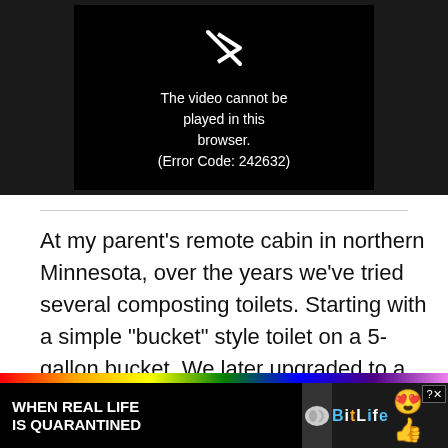[Figure (screenshot): Video player error screen showing a broken video icon and text: 'The video cannot be played in this browser. (Error Code: 242632)' on a dark background.]
At my parent’s remote cabin in northern Minnesota, over the years we’ve tried several composting toilets. Starting with a simple “bucket” style toilet on a 5-gallon bucket. We later upgraded to a Sun-Mar composting toilet and just recently, after 25 years, replaced it with this Nature’s Head...
[Figure (screenshot): Advertisement banner for BitLife game with rainbow background, black text 'WHEN REAL LIFE IS QUARANTINED', BitLife logo, and emoji characters. Has a close button (?)X in corner.]